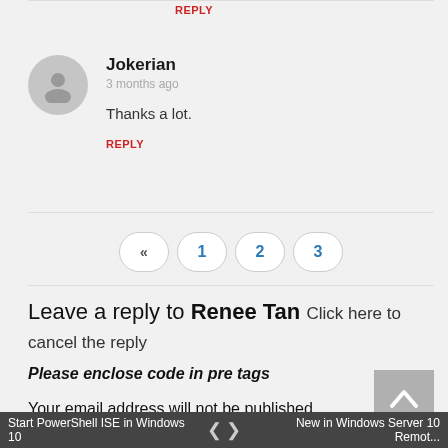REPLY
Jokerian
3 months ago
Thanks a lot.
REPLY
« 1 2 3
Leave a reply to Renee Tan Click here to cancel the reply
Please enclose code in pre tags
Your email address will not be published. Required fields are marked *
Start PowerShell ISE in Windows 10   < >   New in Windows Server 10 Remot...